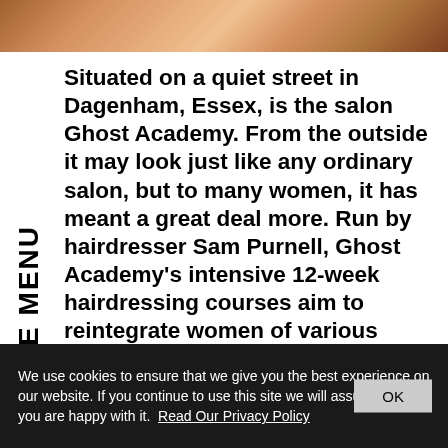[Figure (photo): Top portion of a photo showing hands, possibly wearing gloves, with orange/warm tones — partial view of people in a salon setting]
INFRINGE MENU (rotated sidebar text)
Situated on a quiet street in Dagenham, Essex, is the salon Ghost Academy. From the outside it may look just like any ordinary salon, but to many women, it has meant a great deal more. Run by hairdresser Sam Purnell, Ghost Academy's intensive 12-week hairdressing courses aim to reintegrate women of various disadvantaged backgrounds back into the community. In addition to providing women with an NVQ qualification, the courses are supplemented with workshops that aim to tackle difficult issues within their lives, ranging from talks on
We use cookies to ensure that we give you the best experience on our website. If you continue to use this site we will assume that you are happy with it. Read Our Privacy Policy   OK